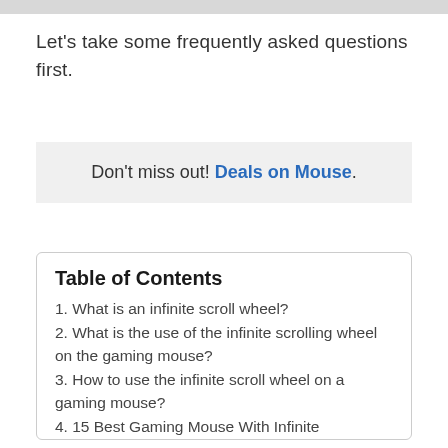Let's take some frequently asked questions first.
Don't miss out! Deals on Mouse.
Table of Contents
1. What is an infinite scroll wheel?
2. What is the use of the infinite scrolling wheel on the gaming mouse?
3. How to use the infinite scroll wheel on a gaming mouse?
4. 15 Best Gaming Mouse With Infinite